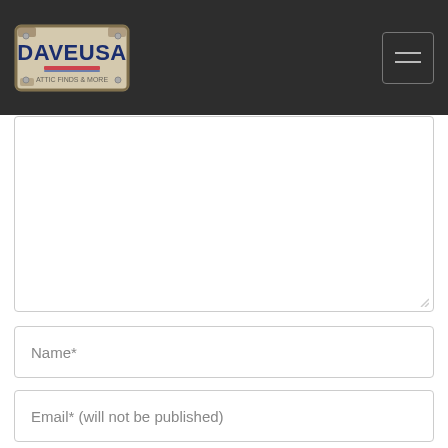DAVEUSA
[Figure (screenshot): Comment form with textarea, name, email, website fields and save checkbox]
Name*
Email* (will not be published)
Website
Save my name, email, and website in this browser for the next time I comment.